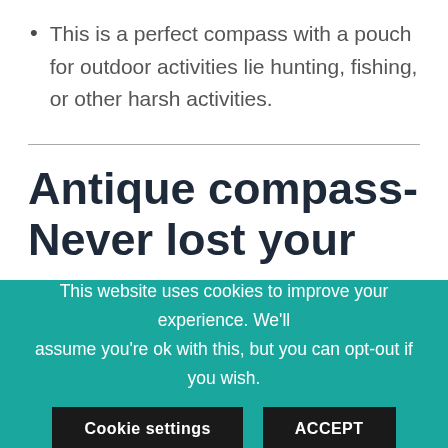This is a perfect compass with a pouch for outdoor activities lie hunting, fishing, or other harsh activities.
Antique compass- Never lost your way
As we all know about the compass and its working,
This website uses cookies to improve your experience. We'll assume you're ok with this, but you can opt-out if you wish.